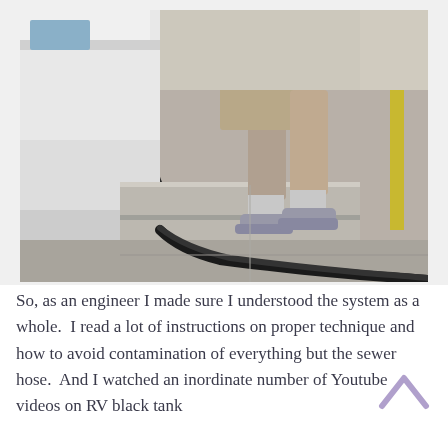[Figure (photo): Outdoor photograph showing the lower half of a person wearing khaki shorts, grey socks, and athletic sneakers, standing on a concrete curb/sidewalk next to a white RV. A black sewer hose curves from the RV across the concrete ground toward a drain.]
So, as an engineer I made sure I understood the system as a whole. I read a lot of instructions on proper technique and how to avoid contamination of everything but the sewer hose. And I watched an inordinate number of Youtube videos on RV black tank